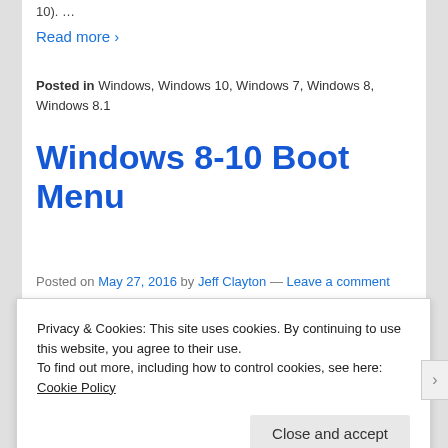10). …
Read more ›
Posted in Windows, Windows 10, Windows 7, Windows 8, Windows 8.1
Windows 8-10 Boot Menu
Posted on May 27, 2016 by Jeff Clayton — Leave a comment
Tech Tip This works in
Privacy & Cookies: This site uses cookies. By continuing to use this website, you agree to their use.
To find out more, including how to control cookies, see here: Cookie Policy
Close and accept